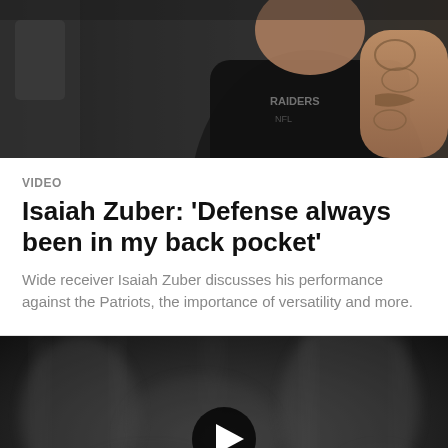[Figure (photo): Photo of Isaiah Zuber in a Raiders shirt with tattoos visible on his arm]
VIDEO
Isaiah Zuber: 'Defense always been in my back pocket'
Wide receiver Isaiah Zuber discusses his performance against the Patriots, the importance of versatility and more.
[Figure (screenshot): Blurred dark video thumbnail with a play button in the center]